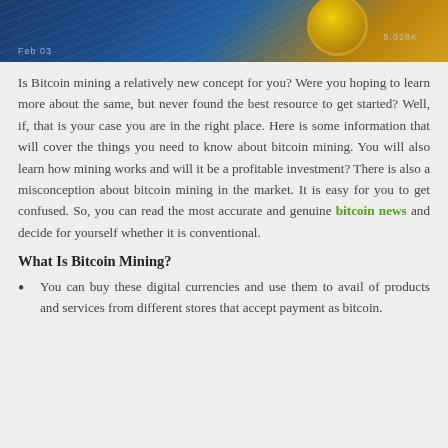[Figure (photo): Banner image showing Bitcoin trading chart with golden Bitcoin coins on a blue financial background. Shows 'Feb 03' and '5.028K' text.]
Is Bitcoin mining a relatively new concept for you? Were you hoping to learn more about the same, but never found the best resource to get started? Well, if, that is your case you are in the right place. Here is some information that will cover the things you need to know about bitcoin mining. You will also learn how mining works and will it be a profitable investment? There is also a misconception about bitcoin mining in the market. It is easy for you to get confused. So, you can read the most accurate and genuine bitcoin news and decide for yourself whether it is conventional.
What Is Bitcoin Mining?
You can buy these digital currencies and use them to avail of products and services from different stores that accept payment as bitcoin.